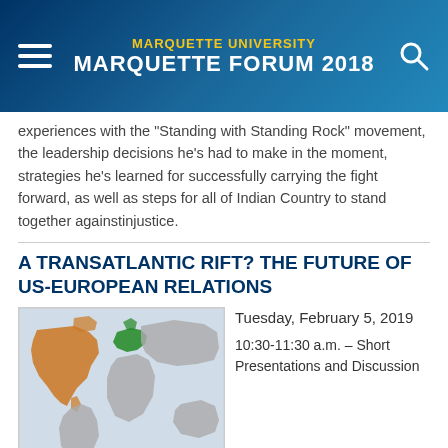MARQUETTE UNIVERSITY MARQUETTE FORUM 2018
experiences with the "Standing with Standing Rock" movement, the leadership decisions he's had to make in the moment, strategies he's learned for successfully carrying the fight forward, as well as steps for all of Indian Country to stand together againstinjustice.
A TRANSATLANTIC RIFT? THE FUTURE OF US-EUROPEAN RELATIONS
[Figure (map): World map with North America highlighted in orange and Europe highlighted in green]
Tuesday, February 5, 2019
10:30-11:30 a.m. – Short Presentations and Discussion
Marquette University Raynor Memorial Libraries, Beaumier Suites (lower level)